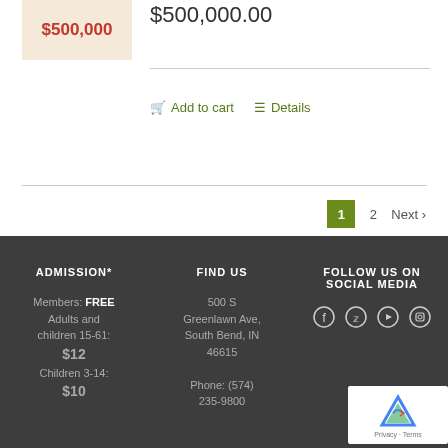$500,000
$500,000.00
Add to cart
Details
1
2
Next
ADMISSION*
FIND US
FOLLOW US ON SOCIAL MEDIA
Members: FREE
Adults and children 15-61:
$12
Children 3-14:
$10
500 S Greenlawn Ave, South Bend, IN 46615
Phone: (574) 235-9800
CONTACT